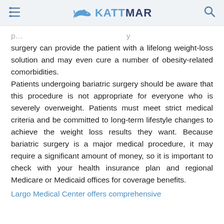KATTMAR (navigation header with menu and search icons)
surgery can provide the patient with a lifelong weight-loss solution and may even cure a number of obesity-related comorbidities. Patients undergoing bariatric surgery should be aware that this procedure is not appropriate for everyone who is severely overweight. Patients must meet strict medical criteria and be committed to long-term lifestyle changes to achieve the weight loss results they want. Because bariatric surgery is a major medical procedure, it may require a significant amount of money, so it is important to check with your health insurance plan and regional Medicare or Medicaid offices for coverage benefits.
Largo Medical Center offers comprehensive